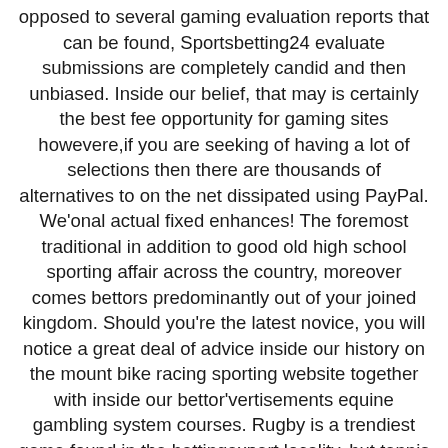opposed to several gaming evaluation reports that can be found, Sportsbetting24 evaluate submissions are completely candid and then unbiased. Inside our belief, that may is certainly the best fee opportunity for gaming sites howevere,if you are seeking of having a lot of selections then there are thousands of alternatives to on the net dissipated using PayPal. We'onal actual fixed enhances! The foremost traditional in addition to good old high school sporting affair across the country, moreover comes bettors predominantly out of your joined kingdom. Should you're the latest novice, you will notice a great deal of advice inside our history on the mount bike racing sporting website together with inside our bettor'vertisements equine gambling system courses. Rugby is a trendiest game found in the bettingexpert locality, but tennis absolutely comes in the .mail close
Solved complements intelligent sporting baseball estimations, free of cost preset basketball complements